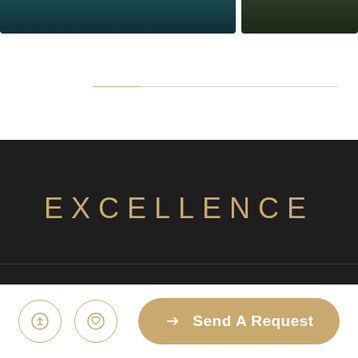[Figure (photo): Two cropped photo thumbnails at top — left shows dark teal water, right shows dark green forest/landscape]
EXCELLENCE
+ Explore Saint-Tropez
+ Explore Cannes
+ Explore Monaco
[Figure (infographic): Bottom navigation bar with share icon button, heart/favorite icon button, and Send A Request button]